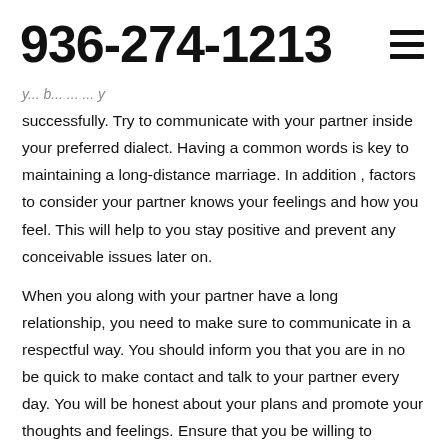936-274-1213
successfully. Try to communicate with your partner inside your preferred dialect. Having a common words is key to maintaining a long-distance marriage. In addition , factors to consider your partner knows your feelings and how you feel. This will help to you stay positive and prevent any conceivable issues later on.
When you along with your partner have a long relationship, you need to make sure to communicate in a respectful way. You should inform you that you are in no be quick to make contact and talk to your partner every day. You will be honest about your plans and promote your thoughts and feelings. Ensure that you be willing to compromise. Once you have discussed these matters, it is possible to stay content in your long-distance relationship.